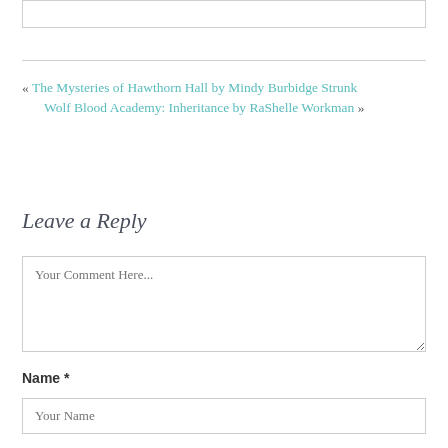« The Mysteries of Hawthorn Hall by Mindy Burbidge Strunk
Wolf Blood Academy: Inheritance by RaShelle Workman »
Leave a Reply
Your Comment Here...
Name *
Your Name